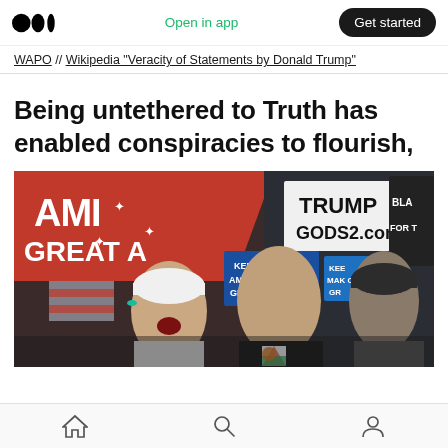Medium app header with logo, Open in app, Get started button
WAPO // Wikipedia "Veracity of Statements by Donald Trump"
Being untethered to Truth has enabled conspiracies to flourish,
[Figure (photo): Crowd at a Trump rally holding signs including 'MAKE AMERICA GREAT AGAIN', 'TRUMP GODS2.com', 'KEEP AMERICA GREAT', 'BLACK FOR T'. People cheering, one man in black t-shirt looking up.]
Home, Search, Profile navigation icons